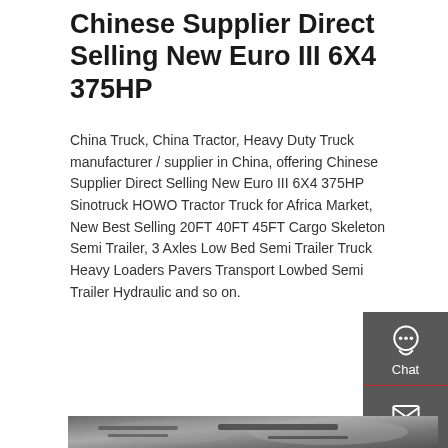Chinese Supplier Direct Selling New Euro III 6X4 375HP
China Truck, China Tractor, Heavy Duty Truck manufacturer / supplier in China, offering Chinese Supplier Direct Selling New Euro III 6X4 375HP Sinotruck HOWO Tractor Truck for Africa Market, New Best Selling 20FT 40FT 45FT Cargo Skeleton Semi Trailer, 3 Axles Low Bed Semi Trailer Truck Heavy Loaders Pavers Transport Lowbed Semi Trailer Hydraulic and so on.
GET A QUOTE
[Figure (photo): Undercarriage view of a heavy-duty truck showing tanks and straps]
[Figure (infographic): Sidebar contact panel with Chat, Email, and Contact icons on dark grey background]